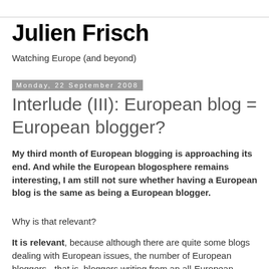Julien Frisch
Watching Europe (and beyond)
Monday, 22 September 2008
Interlude (III): European blog = European blogger?
My third month of European blogging is approaching its end. And while the European blogosphere remains interesting, I am still not sure whether having a European blog is the same as being a European blogger.
Why is that relevant?
It is relevant, because although there are quite some blogs dealing with European issues, the number of European bloggers - that is, bloggers writing from an all-European perspective - is quite limited. It is relevant because this